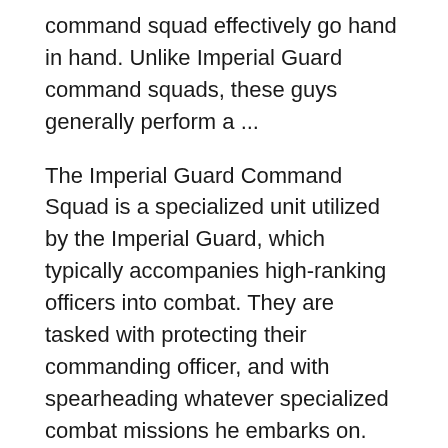command squad effectively go hand in hand. Unlike Imperial Guard command squads, these guys generally perform a ...
The Imperial Guard Command Squad is a specialized unit utilized by the Imperial Guard, which typically accompanies high-ranking officers into combat. They are tasked with protecting their commanding officer, and with spearheading whatever specialized combat missions he embarks on. There currently are 289 guests and 2 members online. On Offer. Follow us on...
Imperrial guard on the other hand, you